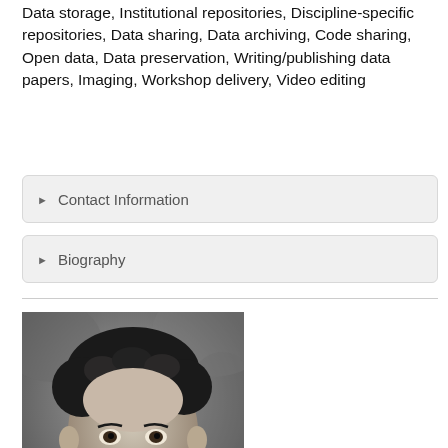Data storage, Institutional repositories, Discipline-specific repositories, Data sharing, Data archiving, Code sharing, Open data, Data preservation, Writing/publishing data papers, Imaging, Workshop delivery, Video editing
▶ Contact Information
▶ Biography
[Figure (photo): Black and white headshot photo of Shamith Samarajiwa, PhD — a man with short curly dark hair, smiling slightly, photographed outdoors with a blurred background.]
Shamith Samarajiwa, PhD